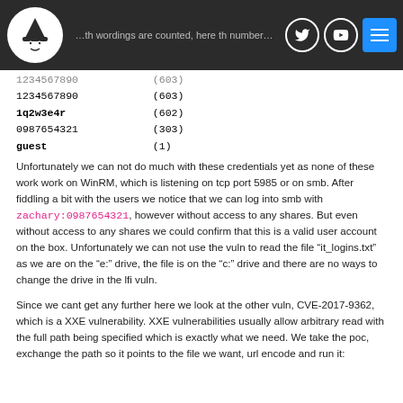Navigation header with logo and social icons
1234567890   (603) [faded]
1234567890   (603)
1q2w3e4r     (602)
0987654321   (303)
guest        (1)
Unfortunately we can not do much with these credentials yet as none of these work work on WinRM, which is listening on tcp port 5985 or on smb. After fiddling a bit with the users we notice that we can log into smb with zachary:0987654321, however without access to any shares. But even without access to any shares we could confirm that this is a valid user account on the box. Unfortunately we can not use the vuln to read the file “it_logins.txt” as we are on the “e:” drive, the file is on the “c:” drive and there are no ways to change the drive in the lfi vuln.
Since we cant get any further here we look at the other vuln, CVE-2017-9362, which is a XXE vulnerability. XXE vulnerabilities usually allow arbitrary read with the full path being specified which is exactly what we need. We take the poc, exchange the path so it points to the file we want, url encode and run it: